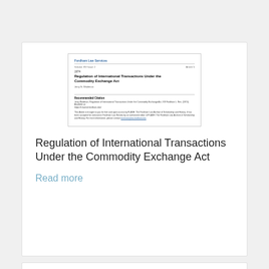[Figure (screenshot): Thumbnail preview of a legal document titled 'Regulation of International Transactions Under the Commodity Exchange Act' from Fordham Law Services]
Regulation of International Transactions Under the Commodity Exchange Act
Read more
[Figure (screenshot): Thumbnail preview of a document titled 'Rwanda Commodity Exchange (RCE)']